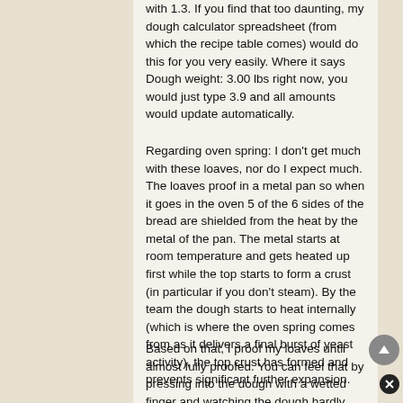with 1.3. If you find that too daunting, my dough calculator spreadsheet (from which the recipe table comes) would do this for you very easily. Where it says Dough weight: 3.00 lbs right now, you would just type 3.9 and all amounts would update automatically.
Regarding oven spring: I don't get much with these loaves, nor do I expect much. The loaves proof in a metal pan so when it goes in the oven 5 of the 6 sides of the bread are shielded from the heat by the metal of the pan. The metal starts at room temperature and gets heated up first while the top starts to form a crust (in particular if you don't steam). By the team the dough starts to heat internally (which is where the oven spring comes from as it delivers a final burst of yeast activity), the top crust has formed and prevents significant further expansion.
Based on that, I proof my loaves until almost fully proofed. You can feel that by pressing into the dough with a wetted finger and watching the dough hardly